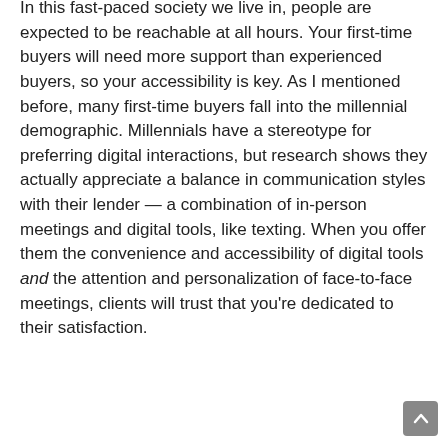In this fast-paced society we live in, people are expected to be reachable at all hours. Your first-time buyers will need more support than experienced buyers, so your accessibility is key. As I mentioned before, many first-time buyers fall into the millennial demographic. Millennials have a stereotype for preferring digital interactions, but research shows they actually appreciate a balance in communication styles with their lender — a combination of in-person meetings and digital tools, like texting. When you offer them the convenience and accessibility of digital tools and the attention and personalization of face-to-face meetings, clients will trust that you're dedicated to their satisfaction.